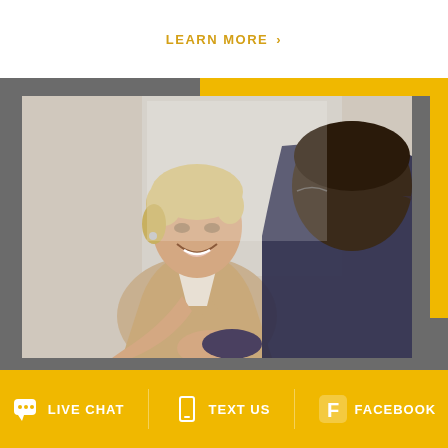LEARN MORE ›
[Figure (photo): A smiling middle-aged woman with short blonde hair wearing a beige blazer shaking hands with a man in a dark suit, business meeting context, warm office lighting]
💬 LIVE CHAT   📱 TEXT US   f FACEBOOK